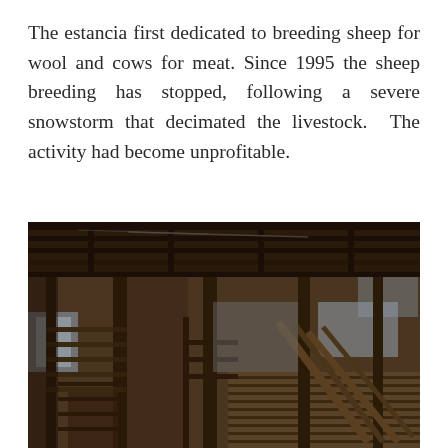The estancia first dedicated to breeding sheep for wool and cows for meat. Since 1995 the sheep breeding has stopped, following a severe snowstorm that decimated the livestock. The activity had become unprofitable.
[Figure (photo): Interior of an old wooden livestock barn or shearing shed, showing deteriorated wooden pens, posts, beams, and fencing structures. The ceiling is made of dark wooden planks and beams. Light enters from windows on the sides.]